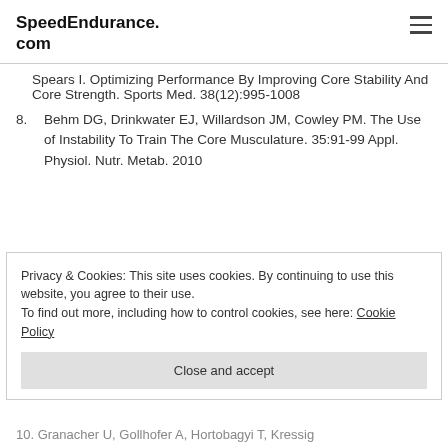SpeedEndurance.com
Spears I. Optimizing Performance By Improving Core Stability And Core Strength. Sports Med. 38(12):995-1008
8. Behm DG, Drinkwater EJ, Willardson JM, Cowley PM. The Use of Instability To Train The Core Musculature. 35:91-99 Appl. Physiol. Nutr. Metab. 2010
Privacy & Cookies: This site uses cookies. By continuing to use this website, you agree to their use.
To find out more, including how to control cookies, see here: Cookie Policy
10. Granacher U, Gollhofer A, Hortobagyi T, Kressig